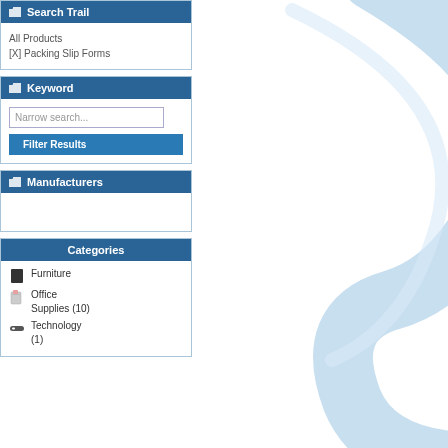Search Trail
All Products
[X] Packing Slip Forms
Keyword
Narrow search...
Filter Results
Manufacturers
Categories
Furniture
Office Supplies (10)
Technology (1)